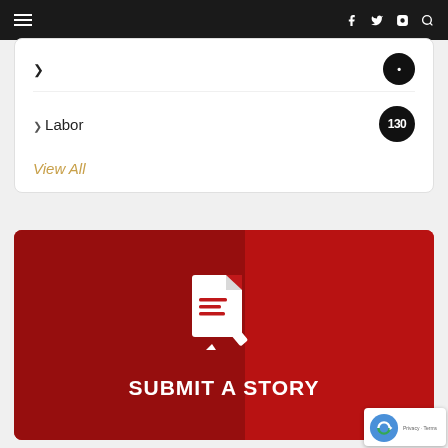Navigation bar with hamburger menu, social icons (Facebook, Twitter, Instagram) and search
Labor 130
View All
[Figure (illustration): Red banner with document/pen icon and text SUBMIT A STORY on dark red background with person silhouette]